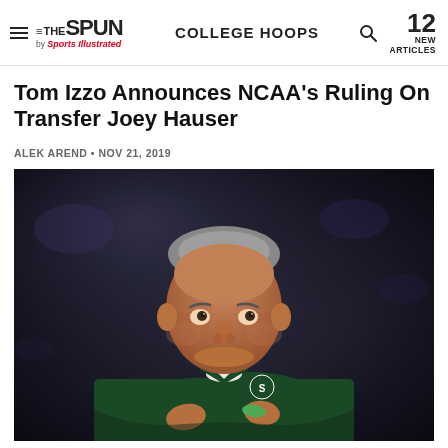THE SPUN by Sports Illustrated | COLLEGE HOOPS | 12 NEW ARTICLES
Tom Izzo Announces NCAA's Ruling On Transfer Joey Hauser
ALEK AREND • NOV 21, 2019
[Figure (photo): Tom Izzo, Michigan State basketball coach, standing with arms crossed wearing a dark green Michigan State jacket, looking upward, against a dark blurred background.]